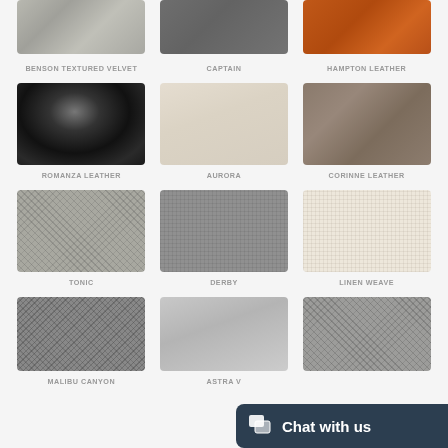[Figure (illustration): Fabric swatch grid showing upholstery material options. Row 1 (partial, top-cropped): Benson Textured Velvet (gray textured), Captain (dark gray), Hampton Leather (cognac/rust leather). Row 2: Romanza Leather (black with sheen), Aurora (cream/beige woven), Corinne Leather (taupe/gray leather). Row 3: Tonic (gray woven texture), Derby (medium gray woven), Linen Weave (off-white/cream). Row 4 (partial, bottom-cropped): Malibu Canyon (dark gray woven), Astra V (silver/metallic), unnamed gray woven.]
BENSON TEXTURED VELVET
CAPTAIN
HAMPTON LEATHER
ROMANZA LEATHER
AURORA
CORINNE LEATHER
TONIC
DERBY
LINEN WEAVE
MALIBU CANYON
ASTRA V